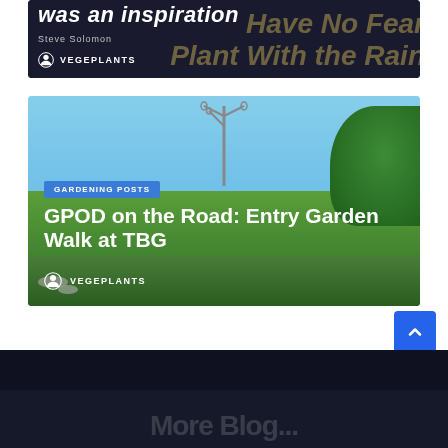[Figure (screenshot): Cropped top card showing partial blog post image with text 'was an inspiration', overlaid gold italic text 'Have No Fear' and 'Plant With the Rain', author icon and VEGEPLANTS label, small text 'Steve Solomon']
[Figure (photo): Garden blog post card image showing ornamental metal lamp posts in a botanical garden with blue sky, lush green hedges. Overlaid: blue GARDENING POSTS badge, bold white title 'GPOD on the Road: Entry Garden Walk at TBG', author icon and VEGEPLANTS label]
Dark footer area with scroll-to-top blue button (chevron up icon)